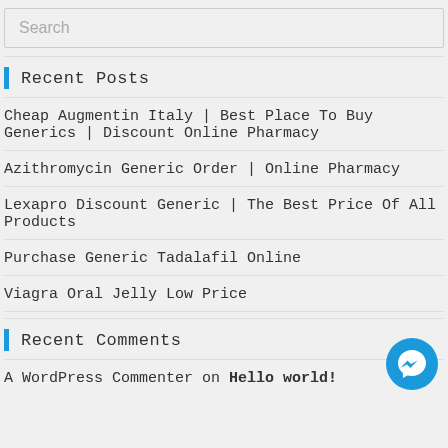Search
Recent Posts
Cheap Augmentin Italy | Best Place To Buy Generics | Discount Online Pharmacy
Azithromycin Generic Order | Online Pharmacy
Lexapro Discount Generic | The Best Price Of All Products
Purchase Generic Tadalafil Online
Viagra Oral Jelly Low Price
Recent Comments
A WordPress Commenter on Hello world!
[Figure (logo): Facebook Messenger blue circular button icon]